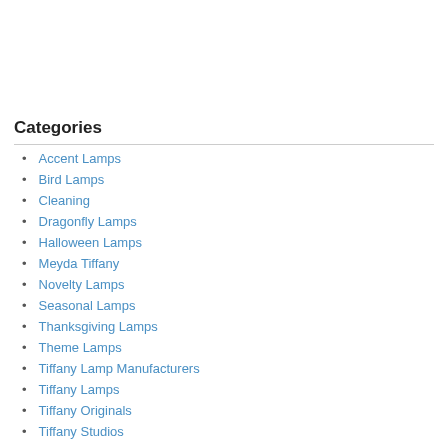Categories
Accent Lamps
Bird Lamps
Cleaning
Dragonfly Lamps
Halloween Lamps
Meyda Tiffany
Novelty Lamps
Seasonal Lamps
Thanksgiving Lamps
Theme Lamps
Tiffany Lamp Manufacturers
Tiffany Lamps
Tiffany Originals
Tiffany Studios